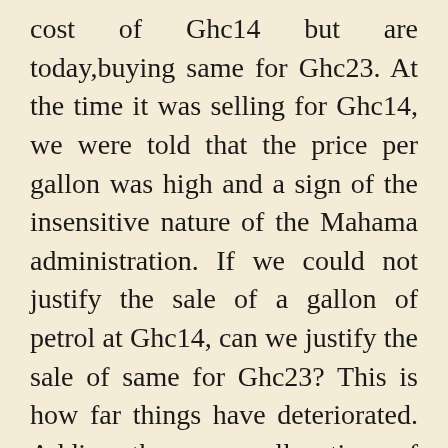cost of Ghc14 but are today,buying same for Ghc23. At the time it was selling for Ghc14, we were told that the price per gallon was high and a sign of the insensitive nature of the Mahama administration. If we could not justify the sale of a gallon of petrol at Ghc14, can we justify the sale of same for Ghc23? This is how far things have deteriorated. Adding, there were allegations of the Mahama administration running what they called family and friends government. At the time, the only family member of the president was Mrs. Joyce Bawah Mugtari, a holder of LLM, Maritime Law. This, we were told, was so wrong to have